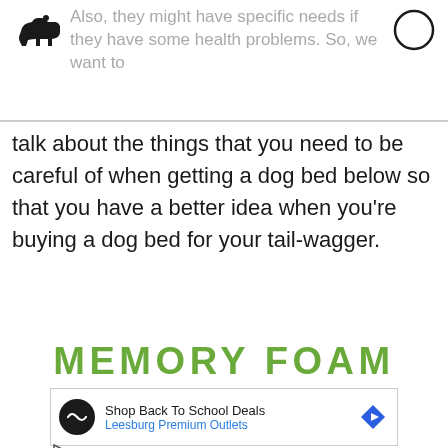Also, they might have specific needs if they have some health problems. So, we want to
talk about the things that you need to be careful of when getting a dog bed below so that you have a better idea when you're buying a dog bed for your tail-wagger.
MEMORY FOAM FILLING
[Figure (other): Advertisement banner: Shop Back To School Deals - Leesburg Premium Outlets, with logo and navigation arrow icon]